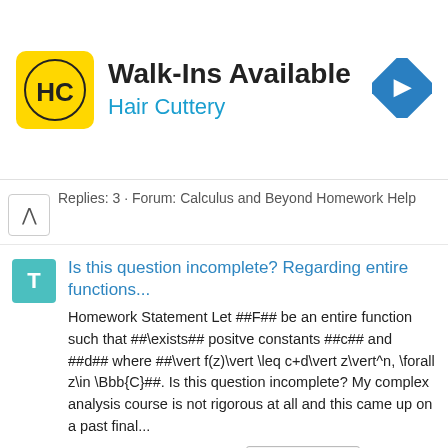[Figure (logo): Hair Cuttery advertisement banner with HC logo, 'Walk-Ins Available' text, 'Hair Cuttery' subtitle in blue, and a blue navigation diamond icon]
Replies: 3 · Forum: Calculus and Beyond Homework Help
Is this question incomplete? Regarding entire functions...
Homework Statement Let ##F## be an entire function such that ##\exists## positve constants ##c## and ##d## where ##\vert f(z)\vert \leq c+d\vert z\vert^n, \forall z\in \Bbb{C}##. Is this question incomplete? My complex analysis course is not rigorous at all and this came up on a past final...
Terrell · Thread · Oct 24, 2018 · complex analysis · maclaurin series · Replies: 1 · Forum: Calculus and Beyond Homework Help